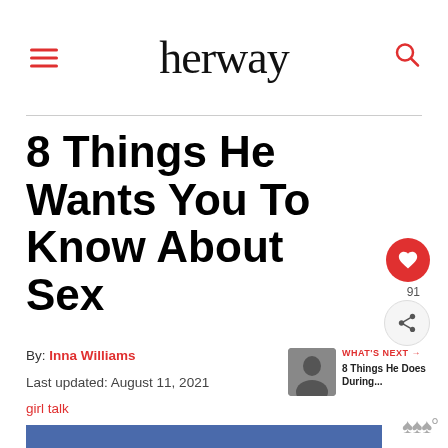herway
8 Things He Wants You To Know About Sex
By: Inna Williams
Last updated: August 11, 2021
girl talk
[Figure (illustration): Blue rectangular banner image at the bottom of the article header]
WHAT'S NEXT → 8 Things He Does During...